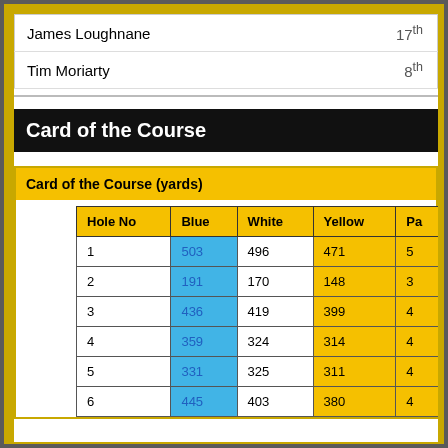| Name | Position |
| --- | --- |
| James Loughnane | 17th |
| Tim Moriarty | 8th |
Card of the Course
| Card of the Course (yards) |
| --- |
| Hole No | Blue | White | Yellow | Pa |
| --- | --- | --- | --- | --- |
| 1 | 503 | 496 | 471 | 5 |
| 2 | 191 | 170 | 148 | 3 |
| 3 | 436 | 419 | 399 | 4 |
| 4 | 359 | 324 | 314 | 4 |
| 5 | 331 | 325 | 311 | 4 |
| 6 | 445 | 403 | 380 | 4 |